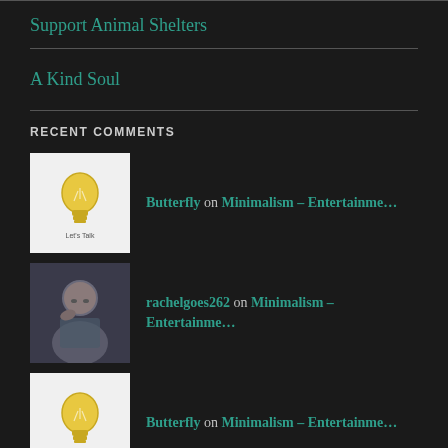Support Animal Shelters
A Kind Soul
RECENT COMMENTS
Butterfly on Minimalism – Entertainme…
rachelgoes262 on Minimalism – Entertainme…
Butterfly on Minimalism – Entertainme…
Minimalism – E… on Minimalism – Entertainme…
rachelgoes262 on Bad Neighbors 2